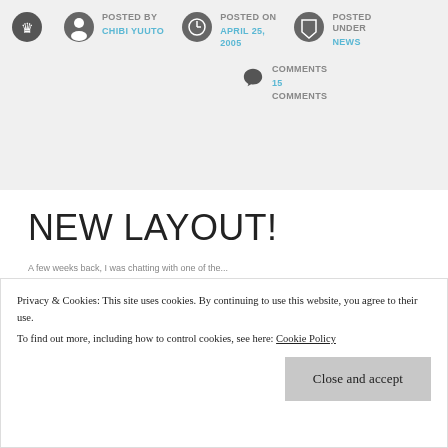POSTED BY CHIBI YUUTO | POSTED ON APRIL 25, 2005 | POSTED UNDER NEWS | COMMENTS 15 COMMENTS
NEW LAYOUT!
Privacy & Cookies: This site uses cookies. By continuing to use this website, you agree to their use. To find out more, including how to control cookies, see here: Cookie Policy
Close and accept